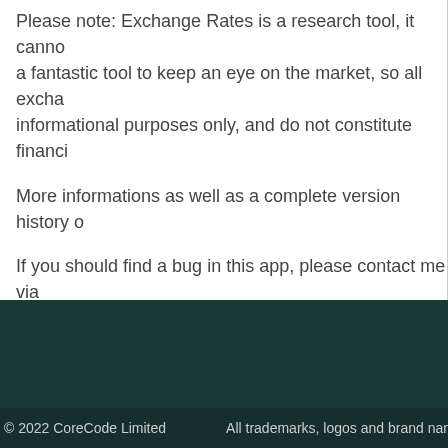Please note: Exchange Rates is a research tool, it cannot be a fantastic tool to keep an eye on the market, so all exchange rates are for informational purposes only, and do not constitute financial advice.
More informations as well as a complete version history c...
If you should find a bug in this app, please contact me via as soon as possible. Thank you!
A free tryout version is available on the product website a...
© 2022 CoreCode Limited    All trademarks, logos and brand names are the...